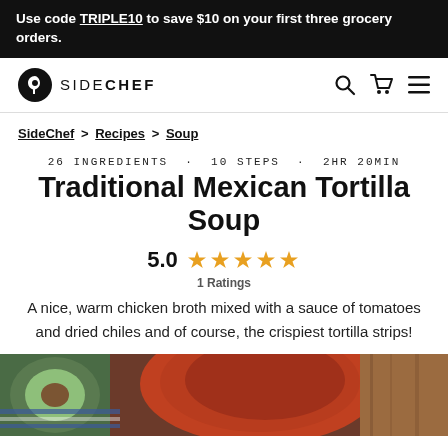Use code TRIPLE10 to save $10 on your first three grocery orders.
SIDECHEF — navigation with search, cart, and menu icons
SideChef > Recipes > Soup
26 INGREDIENTS · 10 STEPS · 2HR 20MIN
Traditional Mexican Tortilla Soup
5.0  ★★★★★  1 Ratings
A nice, warm chicken broth mixed with a sauce of tomatoes and dried chiles and of course, the crispiest tortilla strips!
[Figure (photo): Photo of tortilla soup with avocado halves and a red soup bowl, seen from above]